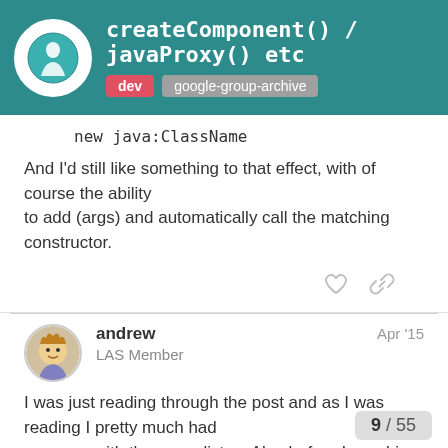createComponent() / javaProxy() etc — dev — google-group-archive
new java:ClassName
And I'd still like something to that effect, with of course the ability
to add (args) and automatically call the matching constructor.
andrew — LAS Member — Apr '15
I was just reading through the post and as I was reading I pretty much had
come up with the same list as Alex before I saw his, so my vote is for
these as they make most sense to me and clearly (from my point of view)
explain what they are doing. No idea what
meant to mean